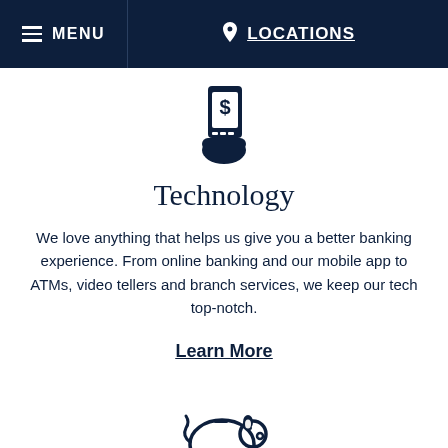MENU   LOCATIONS
[Figure (illustration): Icon of a hand holding a mobile device with a dollar sign on the screen]
Technology
We love anything that helps us give you a better banking experience. From online banking and our mobile app to ATMs, video tellers and branch services, we keep our tech top-notch.
Learn More
[Figure (illustration): Icon of a piggy bank]